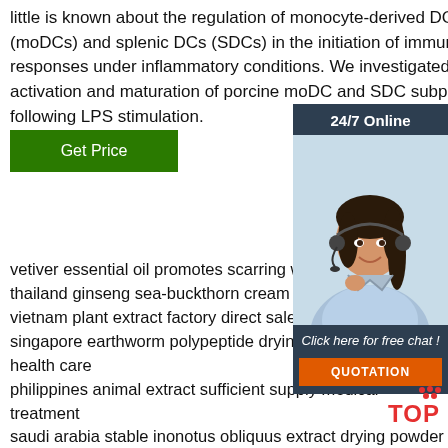little is known about the regulation of monocyte-derived DCs (moDCs) and splenic DCs (SDCs) in the initiation of immune responses under inflammatory conditions. We investigated the activation and maturation of porcine moDC and SDC subpopulations following LPS stimulation.
Get Price
[Figure (other): Customer service widget with '24/7 Online' header, photo of woman with headset, 'Click here for free chat!' text, and orange QUOTATION button]
vetiver essential oil promotes scarring wounds di...
thailand ginseng sea-buckthorn cream acne
vietnam plant extract factory direct sales
singapore earthworm polypeptide drying powder excellence health care
philippines animal extract sufficient supply medical treatment
saudi arabia stable inonotus obliquus extract drying powder factory
laos pig brain extract dry powder good workmanship
distributor...
[Figure (logo): Red TOP logo with dot pattern]